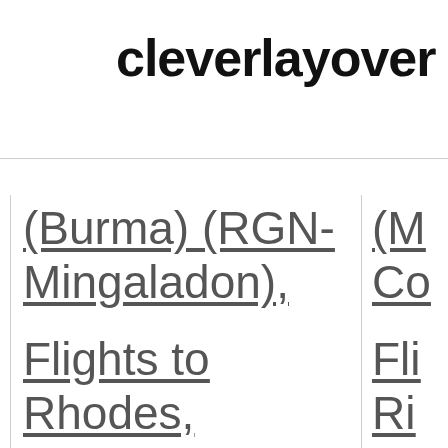cleverlayover
| (Burma) (RGN-Mingaladon), | (M... Co... |
| Flights to Rhodes, Greece (RHO- Diagoras) | Fli... Ri... (R... Int... |